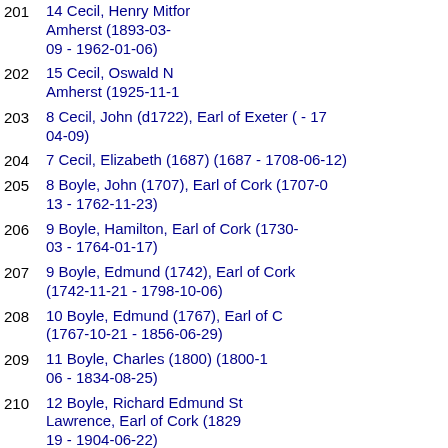201   14 Cecil, Henry Mitford Amherst (1893-03-09 - 1962-01-06)
202   15 Cecil, Oswald N Amherst (1925-11-1...)
203   8 Cecil, John (d1722), Earl of Exeter ( - 17... 04-09)
204   7 Cecil, Elizabeth (1687) (1687 - 1708-06-12)
205   8 Boyle, John (1707), Earl of Cork (1707-0... 13 - 1762-11-23)
206   9 Boyle, Hamilton, Earl of Cork (1730-... 03 - 1764-01-17)
207   9 Boyle, Edmund (1742), Earl of Cork (1742-11-21 - 1798-10-06)
208   10 Boyle, Edmund (1767), Earl of C... (1767-10-21 - 1856-06-29)
209   11 Boyle, Charles (1800) (1800-1... 06 - 1834-08-25)
210   12 Boyle, Richard Edmund St Lawrence, Earl of Cork (1829... 19 - 1904-06-22)
211   13 Boyle, Isabel Lettice Theodosia (1859 - 1904-04...)
212   14 Larnach-Nevill, Isa...